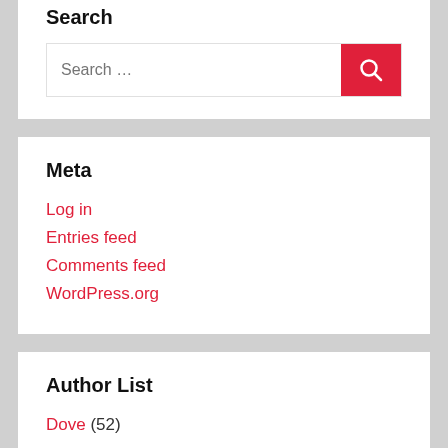Search
[Figure (screenshot): Search input field with red search button containing a magnifying glass icon]
Meta
Log in
Entries feed
Comments feed
WordPress.org
Author List
Dove (52)